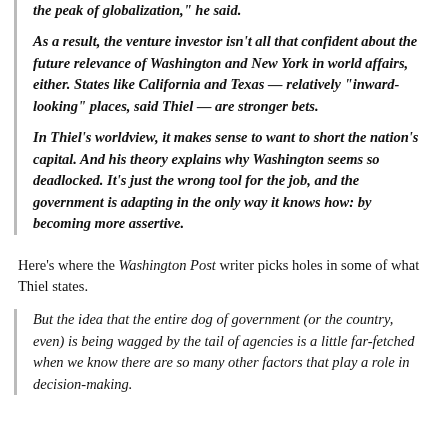the peak of globalization," he said.
As a result, the venture investor isn't all that confident about the future relevance of Washington and New York in world affairs, either. States like California and Texas — relatively "inward-looking" places, said Thiel — are stronger bets.
In Thiel's worldview, it makes sense to want to short the nation's capital. And his theory explains why Washington seems so deadlocked. It's just the wrong tool for the job, and the government is adapting in the only way it knows how: by becoming more assertive.
Here's where the Washington Post writer picks holes in some of what Thiel states.
But the idea that the entire dog of government (or the country, even) is being wagged by the tail of agencies is a little far-fetched when we know there are so many other factors that play a role in decision-making.